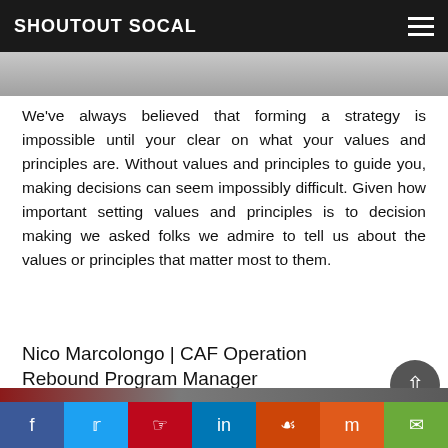SHOUTOUT SOCAL
[Figure (photo): Partial photo strip at top of page showing a person near a brick wall]
We've always believed that forming a strategy is impossible until your clear on what your values and principles are. Without values and principles to guide you, making decisions can seem impossibly difficult. Given how important setting values and principles is to decision making we asked folks we admire to tell us about the values or principles that matter most to them.
Nico Marcolongo | CAF Operation Rebound Program Manager
[Figure (photo): Partial photo strip at bottom showing a person outdoors]
Social share bar: Facebook, Twitter, Pinterest, LinkedIn, Reddit, Mix, Email